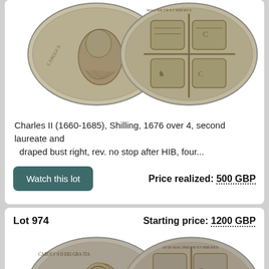[Figure (photo): Two silver coins showing obverse (Charles II laureate bust right) and reverse (four shields cruciform design) of a 1676 shilling]
Charles II (1660-1685), Shilling, 1676 over 4, second laureate and draped bust right, rev. no stop after HIB, four...
Watch this lot
Price realized: 500 GBP
Lot 974
Starting price: 1200 GBP
[Figure (photo): Two silver coins showing obverse (Charles II laureate bust right) and reverse (cruciform shields design) of a 1650 coin]